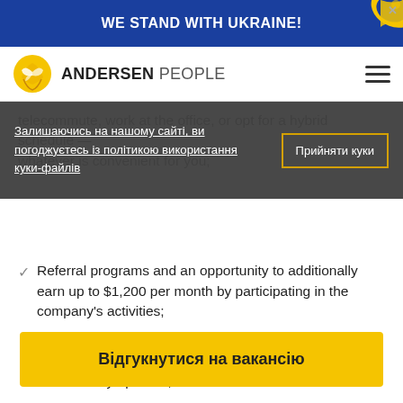WE STAND WITH UKRAINE!
[Figure (logo): Andersen People logo with yellow sunflower icon]
telecommute, work at the office, or opt for a hybrid schedule — whatever is convenient for you;
Залишаючись на нашому сайті, ви погоджуєтесь із політикою використання куки-файлів
Прийняти куки
Referral programs and an opportunity to additionally earn up to $1,200 per month by participating in the company's activities;
Access to the corporate training portal, where the entire knowledge base of the company is collected and which is constantly updated;
Such perks as private health insurance, English language courses, and certification compensation (AWS, PMP, etc.).
Відгукнутися на вакансію